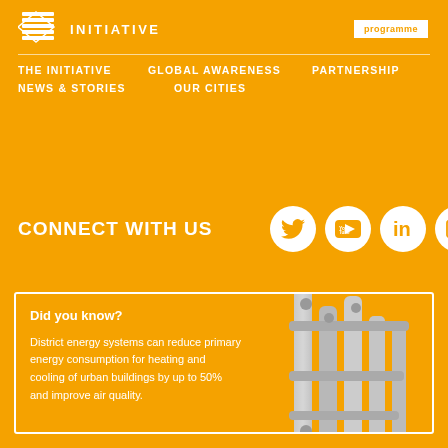INITIATIVE | programme
THE INITIATIVE
GLOBAL AWARENESS
PARTNERSHIP
NEWS & STORIES
OUR CITIES
CONNECT WITH US
[Figure (infographic): Social media icons: Twitter, YouTube, LinkedIn, Email in white circles on orange background]
[Figure (photo): Industrial district energy pipes/infrastructure photo]
Did you know? District energy systems can reduce primary energy consumption for heating and cooling of urban buildings by up to 50% and improve air quality.